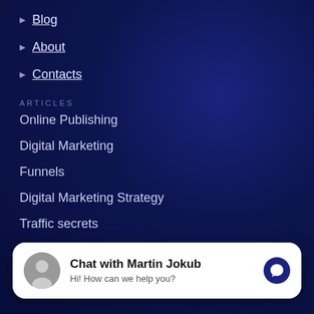Blog
About
Contacts
ARTICLES
Online Publishing
Digital Marketing
Funnels
Digital Marketing Strategy
Traffic secrets
CONTACT
Chat with Martin Jokub
Hi! How can we help you?
+1 / 65 575 526